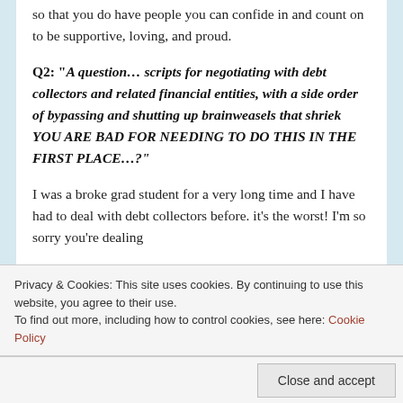so that you do have people you can confide in and count on to be supportive, loving, and proud.
Q2: “A question… scripts for negotiating with debt collectors and related financial entities, with a side order of bypassing and shutting up brainweasels that shriek YOU ARE BAD FOR NEEDING TO DO THIS IN THE FIRST PLACE…?”
I was a broke grad student for a very long time and I have had to deal with debt collectors before. it’s the worst! I’m so sorry you’re dealing
Privacy & Cookies: This site uses cookies. By continuing to use this website, you agree to their use.
To find out more, including how to control cookies, see here: Cookie Policy
Close and accept
First, I found out everything I could about my